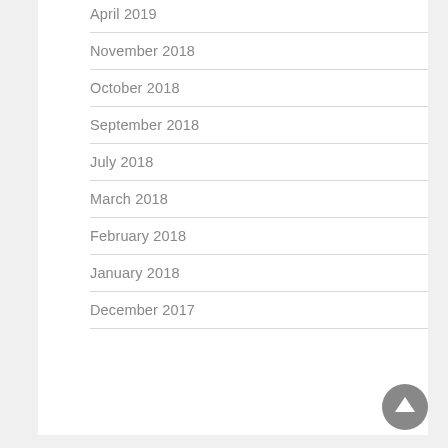April 2019
November 2018
October 2018
September 2018
July 2018
March 2018
February 2018
January 2018
December 2017